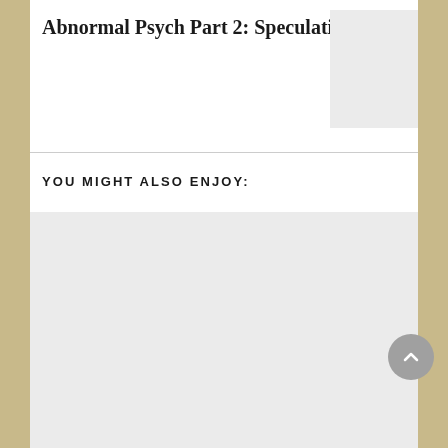Abnormal Psych Part 2: Speculation
YOU MIGHT ALSO ENJOY:
[Figure (photo): Thumbnail image placeholder (light gray rectangle) for the article titled Abnormal Psych Part 2: Speculation]
[Figure (photo): Large image placeholder (light gray rectangle) for a recommended article in the 'You Might Also Enjoy' section]